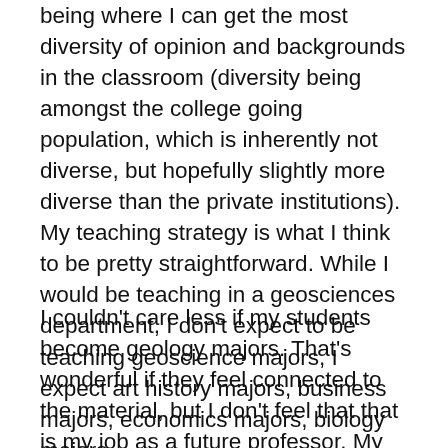being where I can get the most diversity of opinion and backgrounds in the classroom (diversity being amongst the college going population, which is inherently not diverse, but hopefully slightly more diverse than the private institutions). My teaching strategy is what I think to be pretty straightforward. While I would be teaching in a geosciences department, I don't expect to be teaching geoscience majors, I expect art history majors, business majors, economics majors, biology majors.
I couldn't care less if my students become geology majors. That's wonderful if they feel connected to the material, but I don't feel that that is my job as a future professor. My job is to get them to think and critically engage with what they are learning and the wealth of literature and knowledge that I'm asking them to engage with. My job is to get my students to think. My job is to create members of society that can critically consume what they are being told, not just blindly accept. That